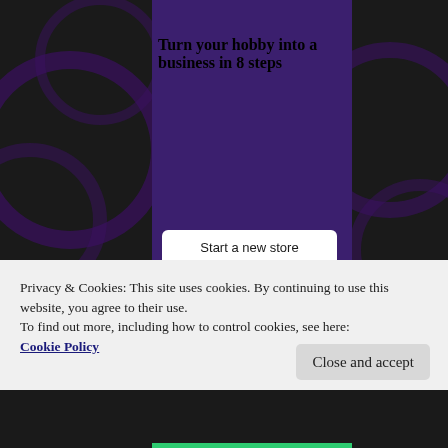[Figure (screenshot): Purple vertical banner on dark background showing 'Turn your hobby into a business in 8 steps' with a 'Start a new store' white button and teal/cyan decorative geometric shapes below]
Privacy & Cookies: This site uses cookies. By continuing to use this website, you agree to their use.
To find out more, including how to control cookies, see here: Cookie Policy
Close and accept